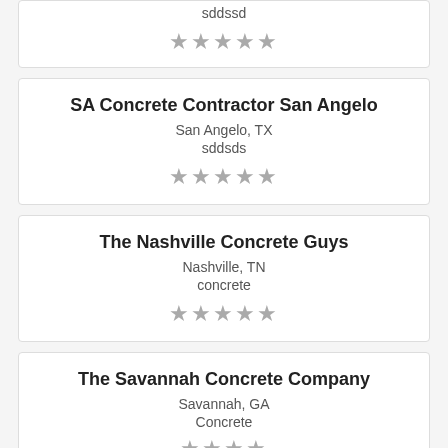sddssd
★★★★★
SA Concrete Contractor San Angelo
San Angelo, TX
sddsds
★★★★★
The Nashville Concrete Guys
Nashville, TN
concrete
★★★★★
The Savannah Concrete Company
Savannah, GA
Concrete
★★★★★